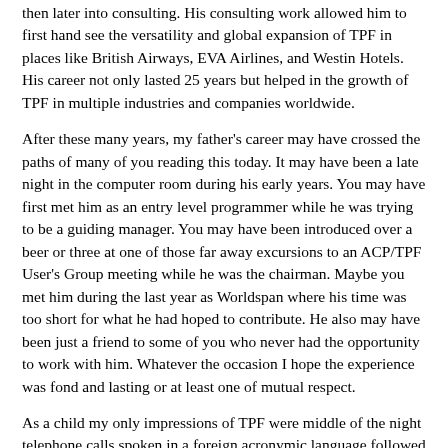then later into consulting. His consulting work allowed him to first hand see the versatility and global expansion of TPF in places like British Airways, EVA Airlines, and Westin Hotels. His career not only lasted 25 years but helped in the growth of TPF in multiple industries and companies worldwide.
After these many years, my father's career may have crossed the paths of many of you reading this today. It may have been a late night in the computer room during his early years. You may have first met him as an entry level programmer while he was trying to be a guiding manager. You may have been introduced over a beer or three at one of those far away excursions to an ACP/TPF User's Group meeting while he was the chairman. Maybe you met him during the last year as Worldspan where his time was too short for what he had hoped to contribute. He also may have been just a friend to some of you who never had the opportunity to work with him. Whatever the occasion I hope the experience was fond and lasting or at least one of mutual respect.
As a child my only impressions of TPF were middle of the night telephone calls spoken in a foreign acronymic language followed by a cursed trip to the office. I did not heed this early warning and I followed my dad's footsteps to become a second generation TPF programmer. The more I learned about this business the more appreciation I gained for what my father had accomplished.